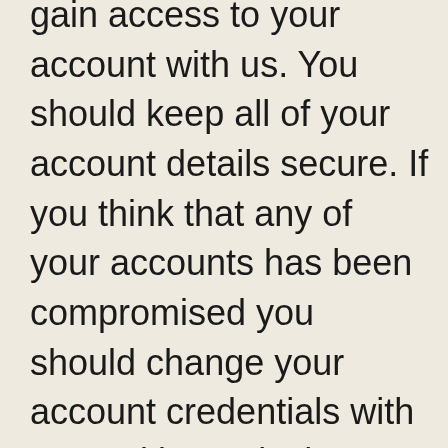gain access to your account with us. You should keep all of your account details secure. If you think that any of your accounts has been compromised you should change your account credentials with us, and in particular make sure any compromised account does not allow access to your account with us. You should also tell us as soon as you can, so that we can try to help you keep your account secure and if necessary